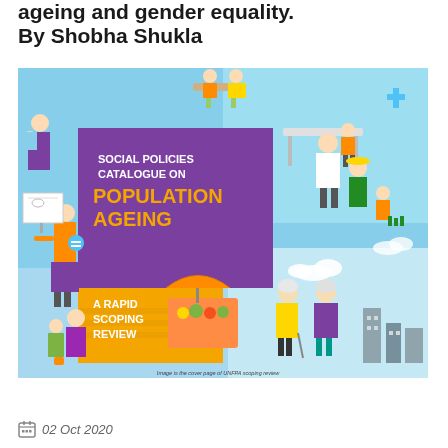ageing and gender equality. By Shobha Shukla
[Figure (illustration): Cover page of UNFPA scoping review titled 'Social Policies Catalogue on Population Ageing: A Rapid Scoping Review'. Features illustrated figures of diverse people of various ages engaged in activities including healthcare, farming, market, and walking, on a light blue background. Purple box with title text and orange box with subtitle text.]
Image is the cover page of UNFPA scoping review
02 Oct 2020